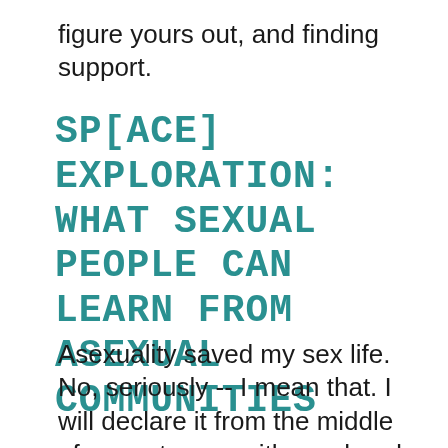figure yours out, and finding support.
SP[ACE] EXPLORATION: WHAT SEXUAL PEOPLE CAN LEARN FROM ASEXUAL COMMUNITIES
Asexuality saved my sex life. No, seriously -- I mean that. I will declare it from the middle of a courtroom, with one hand on Our